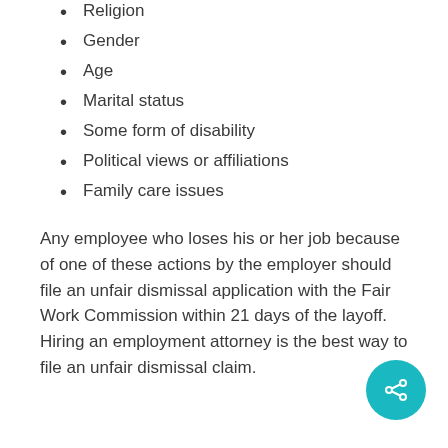Religion
Gender
Age
Marital status
Some form of disability
Political views or affiliations
Family care issues
Any employee who loses his or her job because of one of these actions by the employer should file an unfair dismissal application with the Fair Work Commission within 21 days of the layoff. Hiring an employment attorney is the best way to file an unfair dismissal claim.